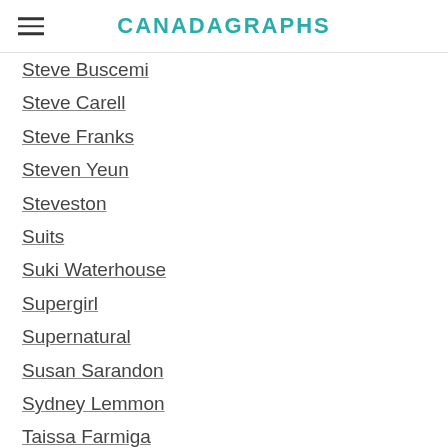CANADAGRAPHS
Steve Buscemi
Steve Carell
Steve Franks
Steven Yeun
Steveston
Suits
Suki Waterhouse
Supergirl
Supernatural
Susan Sarandon
Sydney Lemmon
Taissa Farmiga
Tala Ashe
Tally Craven
Tamlyn Tomita